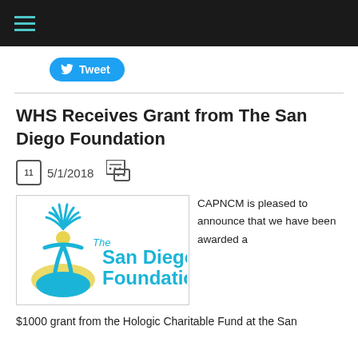Tweet
WHS Receives Grant from The San Diego Foundation
11  5/1/2018
[Figure (logo): The San Diego Foundation logo with blue tree figure and yellow hand, text 'The San Diego Foundation' in blue]
CAPNCM is pleased to announce that we have been awarded a $1000 grant from the Hologic Charitable Fund at the San